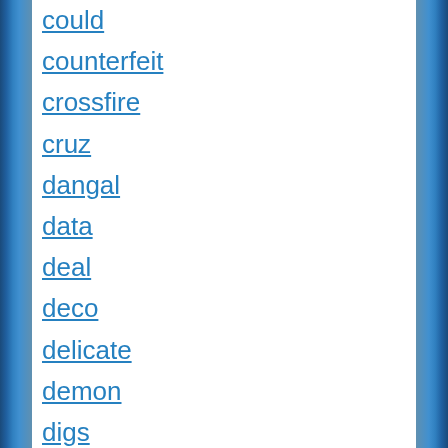could
counterfeit
crossfire
cruz
dangal
data
deal
deco
delicate
demon
digs
dime
disney
distinguished